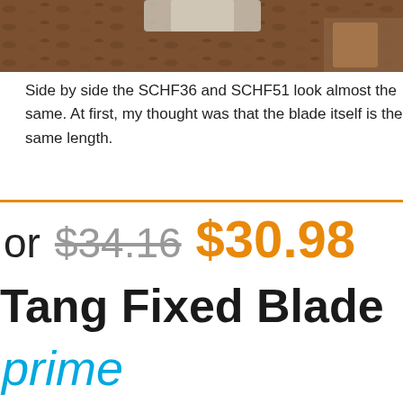[Figure (photo): Close-up photo of a knife or blade on a dirt/ground background with organic debris]
Side by side the SCHF36 and SCHF51 look almost the same. At first, my thought was that the blade itself is the same length.
or $34.16 $30.98
Tang Fixed Blade
prime